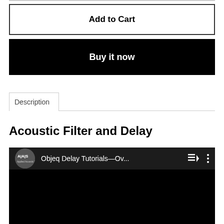Add to Cart
Buy it now
Description
Acoustic Filter and Delay
[Figure (screenshot): YouTube-style embedded video player showing AAS (Applied Acoustic Systems) logo and title 'Objeq Delay Tutorials—Ov...' with playlist and more options icons on a dark background.]